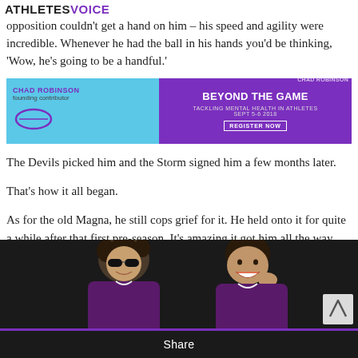ATHLETES VOICE
opposition couldn't get a hand on him – his speed and agility were incredible. Whenever he had the ball in his hands you'd be thinking, 'Wow, he's going to be a handful.' Founding contributor
[Figure (screenshot): Advertisement banner for 'Beyond The Game - Tackling Mental Health in Athletes' event Sept 5-6 2018, featuring Chad Robinson, purple and light blue background with Register Now button]
The Devils picked him and the Storm signed him a few months later.
That's how it all began.
As for the old Magna, he still cops grief for it. He held onto it for quite a while after that first pre-season. It's amazing it got him all the way from far north Queensland to Brissie in one piece.
[Figure (photo): Two young men in purple sports uniforms smiling, one wearing sunglasses, sitting together, likely rugby league players]
Share